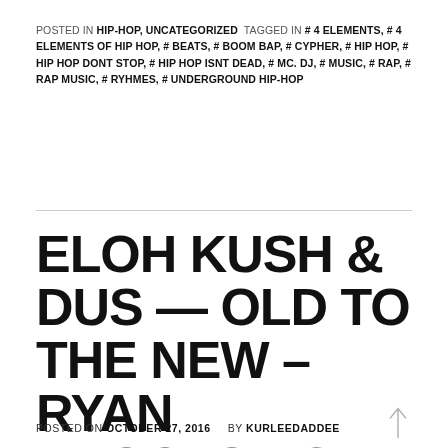POSTED IN HIP-HOP, UNCATEGORIZED  TAGGED IN # 4 ELEMENTS, # 4 ELEMENTS OF HIP HOP, # BEATS, # BOOM BAP, # CYPHER, # HIP HOP, # HIP HOP DONT STOP, # HIP HOP ISNT DEAD, # MC. DJ, # MUSIC, # RAP, # RAP MUSIC, # RYHMES, # UNDERGROUND HIP-HOP
ELOH KUSH & DUS — OLD TO THE NEW – RYAN PROCTOR'S BEATS, RHYMES & HIP-HOP NOSTALGIA
POSTED ON OCTOBER 27, 2016   BY KURLEEDADDEE